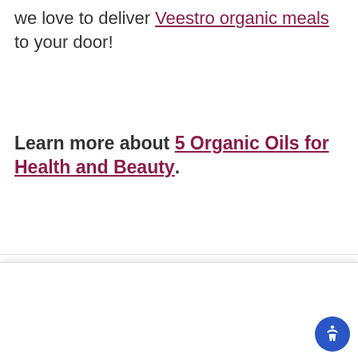we love to deliver Veestro organic meals to your door!
Learn more about 5 Organic Oils for Health and Beauty.
Notice
This website uses cookies to enhance user experience and show personalized ads or content. Click on Privacy Policy for more information or click "Accept" to consent to our use of cookies. Privacy policy
Accept
Learn more and customize